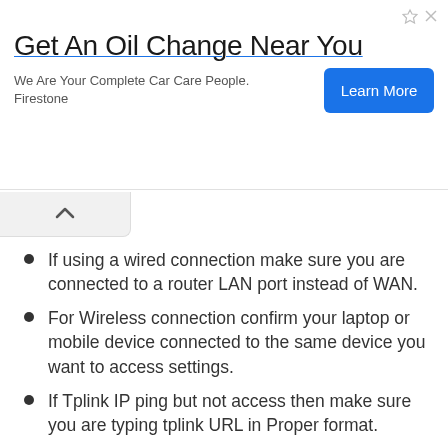[Figure (screenshot): Advertisement banner for Firestone oil change service with 'Get An Oil Change Near You' headline, subtitle 'We Are Your Complete Car Care People. Firestone', and a blue 'Learn More' button. Ad attribution icons in top-right corner.]
If using a wired connection make sure you are connected to a router LAN port instead of WAN.
For Wireless connection confirm your laptop or mobile device connected to the same device you want to access settings.
If Tplink IP ping but not access then make sure you are typing tplink URL in Proper format.
User http://tplinkwifi.net instead of using the wrong format such as www tplinkwifi net, http //tplinkwifi.net, http;//tplinkwifi.net, htt://tplinkwifi.net